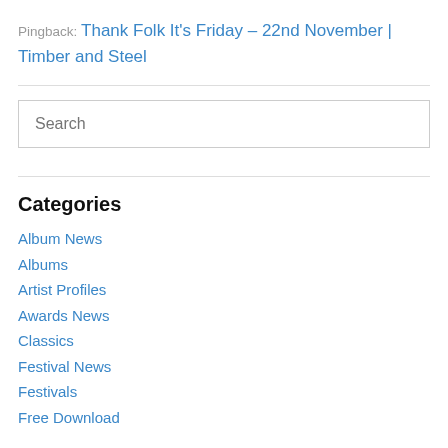Pingback: Thank Folk It’s Friday – 22nd November | Timber and Steel
Search
Categories
Album News
Albums
Artist Profiles
Awards News
Classics
Festival News
Festivals
Free Download